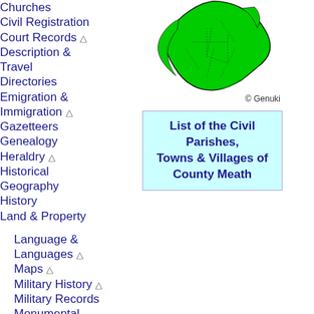Churches
Civil Registration
Court Records ⚠
Description & Travel
Directories
Emigration & Immigration ⚠
Gazetteers
Genealogy
Heraldry ⚠
Historical Geography
History
Land & Property
Language & Languages ⚠
Maps ⚠
Military History ⚠
Military Records
Monumental
[Figure (map): Green outline map of Ireland]
© Genuki
List of the Civil Parishes, Towns & Villages of County Meath